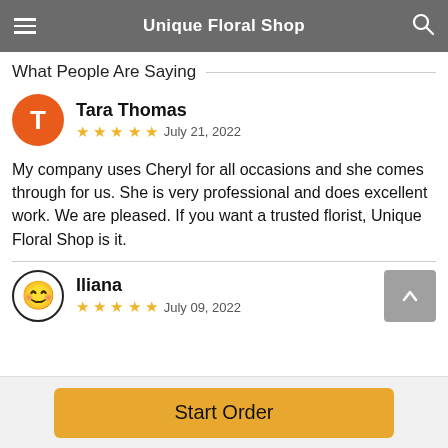Unique Floral Shop
What People Are Saying
Tara Thomas — ★★★★★ July 21, 2022
My company uses Cheryl for all occasions and she comes through for us. She is very professional and does excellent work. We are pleased. If you want a trusted florist, Unique Floral Shop is it.
Iliana — ★★★★★ July 09, 2022
Start Order